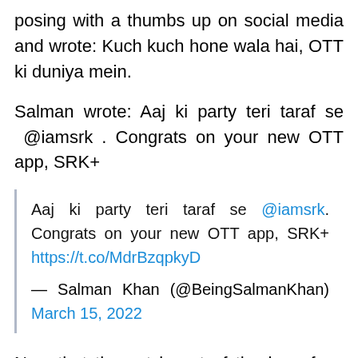posing with a thumbs up on social media and wrote: Kuch kuch hone wala hai, OTT ki duniya mein.
Salman wrote: Aaj ki party teri taraf se @iamsrk . Congrats on your new OTT app, SRK+
Aaj ki party teri taraf se @iamsrk. Congrats on your new OTT app, SRK+ https://t.co/MdrBzqpkyD — Salman Khan (@BeingSalmanKhan) March 15, 2022
Now that the cat is out of the bag, fans are waiting for more details to follow!